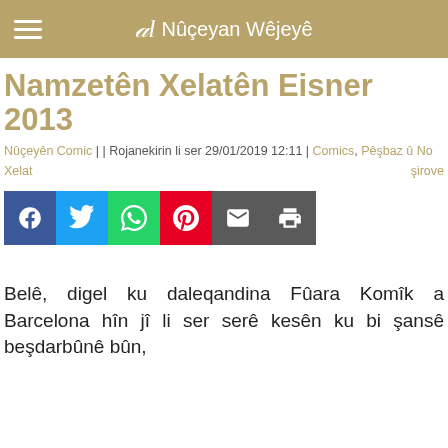al Nûçeyan Wêjeyê
Namzetên Xelatên Eisner 2013
Nûçeyên Comic | | Rojanekirin li ser 29/01/2019 12:11 | Comics, Pêşbaz û Xelat   No şirove
[Figure (other): Social media share buttons: Facebook, Twitter, WhatsApp, Pinterest, Email, Print]
Belê, digel ku daleqandina Fûara Komîk a Barcelona hîn jî li ser serê kesên ku bi şansê beşdarbûnê bûn, di ser malêt bên, xelatên Eisner ên hînê bête...